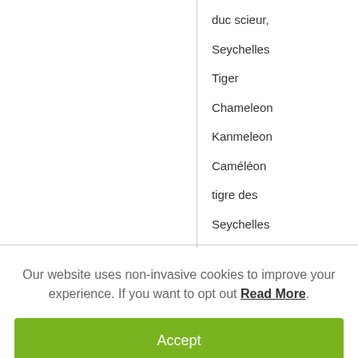|  | duc scieur, Seychelles Tiger Chameleon Kanmeleon Caméléon tigre des Seychelles |
| Object | animals, branches |
Our website uses non-invasive cookies to improve your experience. If you want to opt out Read More.